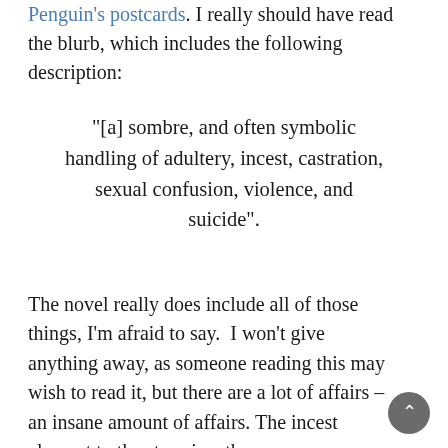Penguin's postcards. I really should have read the blurb, which includes the following description:
“[a] sombre, and often symbolic handling of adultery, incest, castration, sexual confusion, violence, and suicide”.
The novel really does include all of those things, I’m afraid to say.  I won’t give anything away, as someone reading this may wish to read it, but there are a lot of affairs – an insane amount of affairs. The incest element to the story is rather